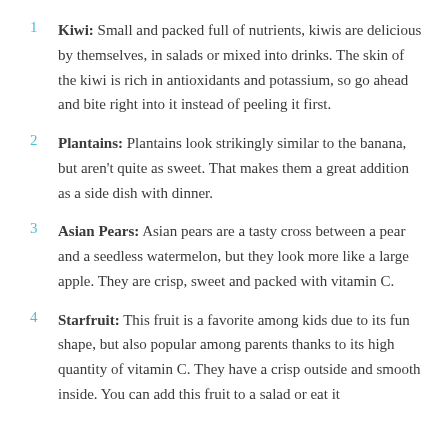Kiwi: Small and packed full of nutrients, kiwis are delicious by themselves, in salads or mixed into drinks. The skin of the kiwi is rich in antioxidants and potassium, so go ahead and bite right into it instead of peeling it first.
Plantains: Plantains look strikingly similar to the banana, but aren't quite as sweet. That makes them a great addition as a side dish with dinner.
Asian Pears: Asian pears are a tasty cross between a pear and a seedless watermelon, but they look more like a large apple. They are crisp, sweet and packed with vitamin C.
Starfruit: This fruit is a favorite among kids due to its fun shape, but also popular among parents thanks to its high quantity of vitamin C. They have a crisp outside and smooth inside. You can add this fruit to a salad or eat it ...